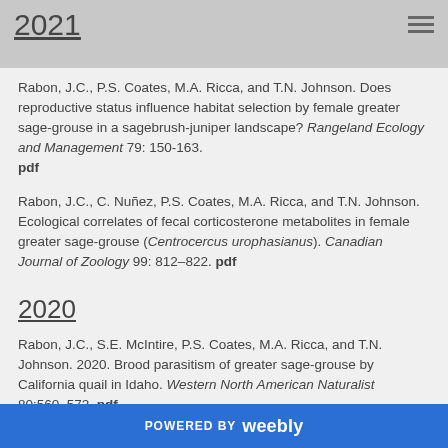2021
Rabon, J.C., P.S. Coates, M.A. Ricca, and T.N. Johnson. Does reproductive status influence habitat selection by female greater sage-grouse in a sagebrush-juniper landscape? Rangeland Ecology and Management 79: 150-163. pdf
Rabon, J.C., C. Nuñez, P.S. Coates, M.A. Ricca, and T.N. Johnson. Ecological correlates of fecal corticosterone metabolites in female greater sage-grouse (Centrocercus urophasianus). Canadian Journal of Zoology 99: 812–822. pdf
2020
Rabon, J.C., S.E. McIntire, P.S. Coates, M.A. Ricca, and T.N. Johnson. 2020. Brood parasitism of greater sage-grouse by California quail in Idaho. Western North American Naturalist 80:560-572. pdf
POWERED BY weebly